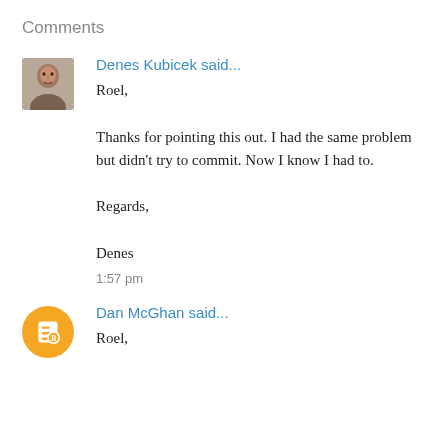Comments
Denes Kubicek said...
Roel,

Thanks for pointing this out. I had the same problem but didn't try to commit. Now I know I had to.

Regards,

Denes

1:57 pm
Dan McGhan said...
Roel,